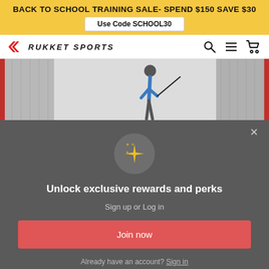BACK TO SCHOOL TRAINING SALE- SPEND $150 SAVE $30
Use Code SCHOOL30
[Figure (logo): Rukket Sports logo with red arrow marks and italic uppercase text]
[Figure (photo): Golf player swinging at a golf net/cage, background shows white net panels]
[Figure (screenshot): Modal popup with sparkles icon, headline 'Unlock exclusive rewards and perks', subtext 'Sign up or Log in', red 'Join now' button, and 'Already have an account? Sign in' link]